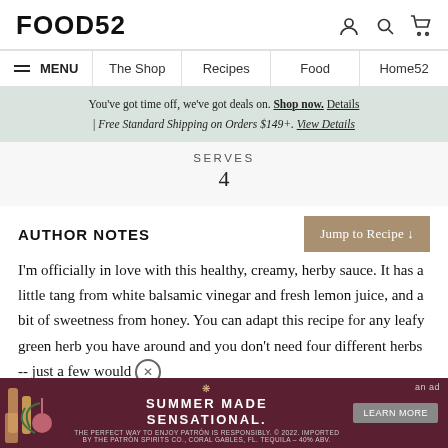FOOD52
MENU | The Shop | Recipes | Food | Home52
You've got time off, we've got deals on. Shop now. Details | Free Standard Shipping on Orders $149+. View Details
SERVES
4
AUTHOR NOTES
I'm officially in love with this healthy, creamy, herby sauce. It has a little tang from white balsamic vinegar and fresh lemon juice, and a bit of sweetness from honey. You can adapt this recipe for any leafy green herb you have around and you don't need four different herbs -- just a few would
[Figure (screenshot): Advertisement banner for Patron tequila: 'Summer Made Sensational' with bottles and a Learn More button. Labeled as an ad.]